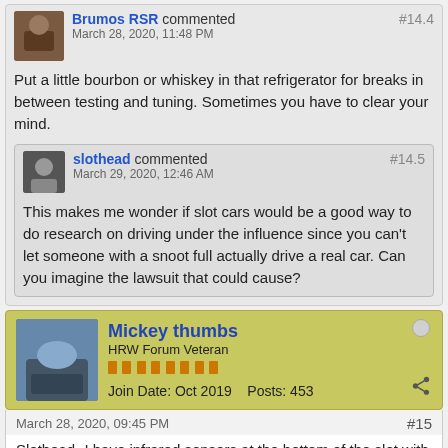Brumos RSR commented #14.4 March 28, 2020, 11:48 PM
Put a little bourbon or whiskey in that refrigerator for breaks in between testing and tuning. Sometimes you have to clear your mind.
slothead commented #14.5 March 29, 2020, 12:46 AM
This makes me wonder if slot cars would be a good way to do research on driving under the influence since you can't let someone with a snoot full actually drive a real car. Can you imagine the lawsuit that could cause?
Mickey thumbs
HRW Forum Veteran
Join Date: Oct 2019    Posts: 453
March 28, 2020, 09:45 PM  #15
Slothead- I have infrared sensors at the bottom of the slot with